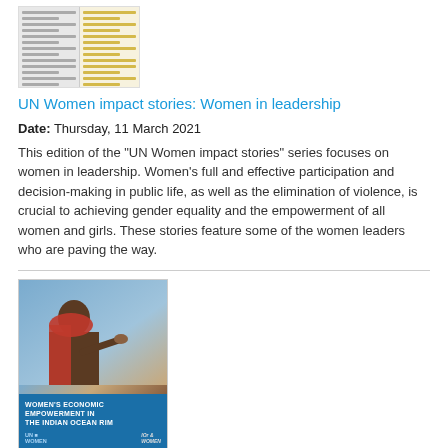[Figure (illustration): Thumbnail image of a document with two columns, one grey and one yellow/cream, with horizontal lines representing text]
UN Women impact stories: Women in leadership
Date: Thursday, 11 March 2021
This edition of the "UN Women impact stories" series focuses on women in leadership. Women's full and effective participation and decision-making in public life, as well as the elimination of violence, is crucial to achieving gender equality and the empowerment of all women and girls. These stories feature some of the women leaders who are paving the way.
[Figure (photo): Cover of report showing a woman with red scarf and blue banner reading WOMEN'S ECONOMIC EMPOWERMENT IN THE INDIAN OCEAN RIM with UN Women logo]
Women's economic empowerment in the Indian Ocean Rim: Progress and challenges
Date: Wednesday, 16 December 2020